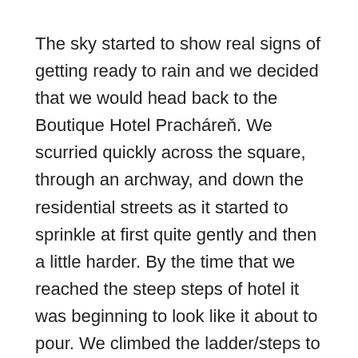The sky started to show real signs of getting ready to rain and we decided that we would head back to the Boutique Hotel Pracháreň. We scurried quickly across the square, through an archway, and down the residential streets as it started to sprinkle at first quite gently and then a little harder. By the time that we reached the steep steps of hotel it was beginning to look like it about to pour. We climbed the ladder/steps to our room and the clouds opened up and it began to rain in earnest.
Sue grabbed her Ipad, I grabbed my Samsung tablet and Walter went for the television remote. Within a few moments Sue was engrossed in something, I was fighting a loosing battle of trying to access the Wi-Fi and